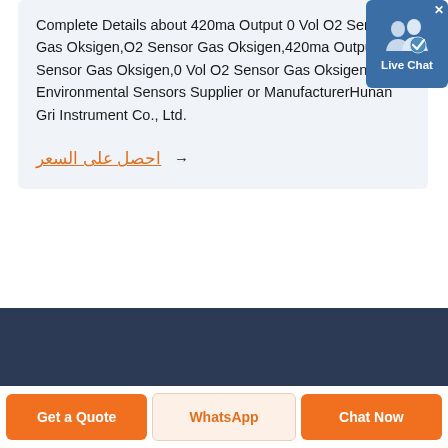Complete Details about 420ma Output 0 Vol O2 Sensor Gas Oksigen,O2 Sensor Gas Oksigen,420ma Output O2 Sensor Gas Oksigen,0 Vol O2 Sensor Gas Oksigen from Environmental Sensors Supplier or ManufacturerHunan Gri Instrument Co., Ltd.
احصل على السعر →
[Figure (other): Live Chat badge with two user silhouettes and a checkmark icon, blue background, white text reading 'Live Chat', with an X close button]
[Figure (photo): Dark navy blue footer banner background]
Get a Quote
WhatsApp
Chat Now